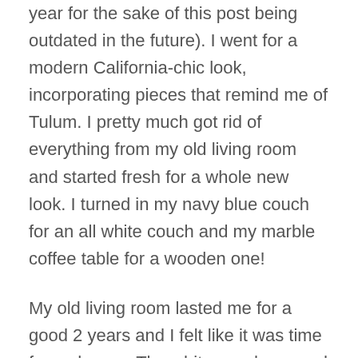year for the sake of this post being outdated in the future). I went for a modern California-chic look, incorporating pieces that remind me of Tulum. I pretty much got rid of everything from my old living room and started fresh for a whole new look. I turned in my navy blue couch for an all white couch and my marble coffee table for a wooden one!
My old living room lasted me for a good 2 years and I felt like it was time for a change. The white couch opened up my living room so much more and gave it a visibly brighter look and feel. Something about black and white frames and wall-art I'm currently into. I didn't want too much color for this and kept it neutral with the added accessories.